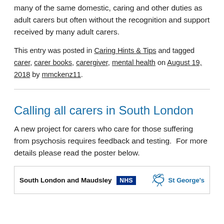many of the same domestic, caring and other duties as adult carers but often without the recognition and support received by many adult carers.
This entry was posted in Caring Hints & Tips and tagged carer, carer books, carergiver, mental health on August 19, 2018 by mmckenz11.
Calling all carers in South London
A new project for carers who care for those suffering from psychosis requires feedback and testing.  For more details please read the poster below.
[Figure (logo): South London and Maudsley NHS and St George's logos in a bordered box]